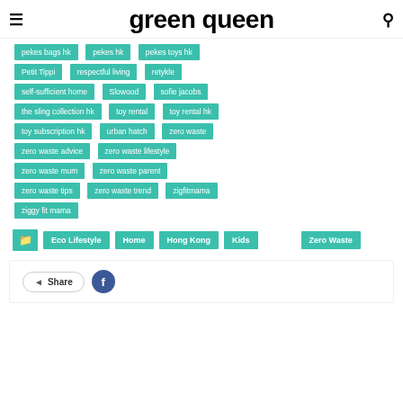green queen
pekes bags hk
pekes hk
pekes toys hk
Petit Tippi
respectful living
retykle
self-sufficient home
Slowood
sofie jacobs
the sling collection hk
toy rental
toy rental hk
toy subscription hk
urban hatch
zero waste
zero waste advice
zero waste lifestyle
zero waste mum
zero waste parent
zero waste tips
zero waste trend
zigfitmama
ziggy fit mama
Eco Lifestyle
Home
Hong Kong
Kids
Zero Waste
Share